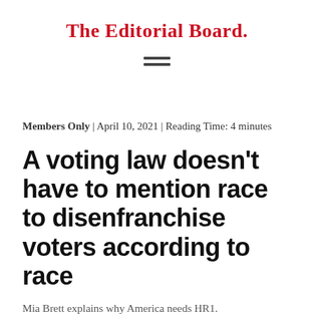The Editorial Board.
[Figure (other): Hamburger menu icon — three horizontal bars]
Members Only | April 10, 2021 | Reading Time: 4 minutes
A voting law doesn't have to mention race to disenfranchise voters according to race
Mia Brett explains why America needs HR1.